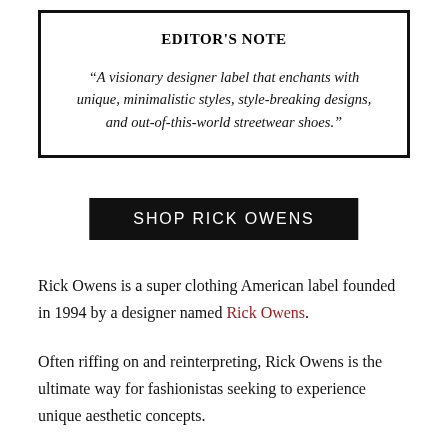EDITOR'S NOTE
“A visionary designer label that enchants with unique, minimalistic styles, style-breaking designs, and out-of-this-world streetwear shoes.”
SHOP RICK OWENS
Rick Owens is a super clothing American label founded in 1994 by a designer named Rick Owens.
Often riffing on and reinterpreting, Rick Owens is the ultimate way for fashionistas seeking to experience unique aesthetic concepts.